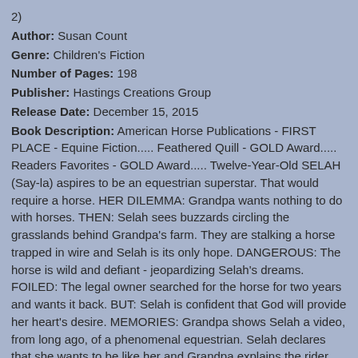2)
Author: Susan Count
Genre: Children's Fiction
Number of Pages: 198
Publisher: Hastings Creations Group
Release Date: December 15, 2015
Book Description: American Horse Publications - FIRST PLACE - Equine Fiction..... Feathered Quill - GOLD Award..... Readers Favorites - GOLD Award..... Twelve-Year-Old SELAH (Say-la) aspires to be an equestrian superstar. That would require a horse. HER DILEMMA: Grandpa wants nothing to do with horses. THEN: Selah sees buzzards circling the grasslands behind Grandpa's farm. They are stalking a horse trapped in wire and Selah is its only hope. DANGEROUS: The horse is wild and defiant - jeopardizing Selah's dreams. FOILED: The legal owner searched for the horse for two years and wants it back. BUT: Selah is confident that God will provide her heart's desire. MEMORIES: Grandpa shows Selah a video, from long ago, of a phenomenal equestrian. Selah declares that she wants to be like her and Grandpa explains the rider was her grandmother. HOPE: A world renowned horse trainer offers